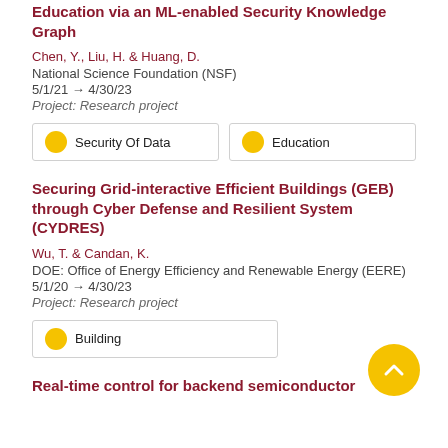Education via an ML-enabled Security Knowledge Graph
Chen, Y., Liu, H. & Huang, D.
National Science Foundation (NSF)
5/1/21 → 4/30/23
Project: Research project
100% Security Of Data
100% Education
Securing Grid-interactive Efficient Buildings (GEB) through Cyber Defense and Resilient System (CYDRES)
Wu, T. & Candan, K.
DOE: Office of Energy Efficiency and Renewable Energy (EERE)
5/1/20 → 4/30/23
Project: Research project
100% Building
Real-time control for backend semiconductor